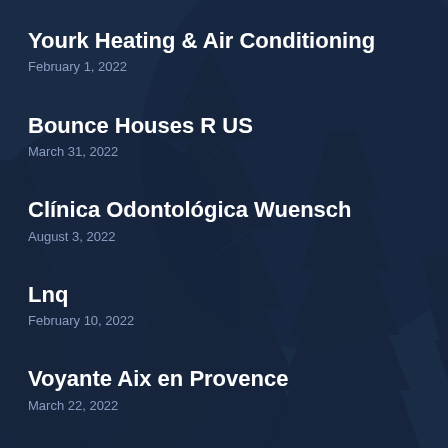Yourk Heating & Air Conditioning
February 1, 2022
Bounce Houses R US
March 31, 2022
Clínica Odontológica Wuensch
August 3, 2022
Lnq
February 10, 2022
Voyante Aix en Provence
March 22, 2022